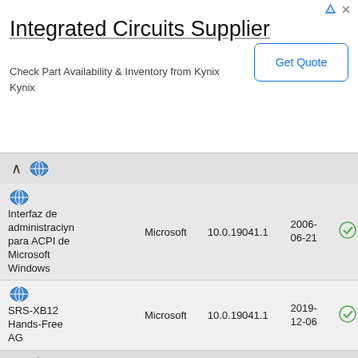[Figure (screenshot): Advertisement banner for Integrated Circuits Supplier - Kynix, with Get Quote button]
| Device | Vendor | Version | Date | Status |
| --- | --- | --- | --- | --- |
| Interfaz de administraciyn para ACPI de Microsoft Windows | Microsoft | 10.0.19041.1 | 2006-06-21 | ✓ |
| SRS-XB12 Hands-Free AG | Microsoft | 10.0.19041.1 | 2019-12-06 | ✓ |
| USB (header) |  |  |  |  |
| Concentrador raнz USB (USB 3.0) | Microsoft | 10.0.19041.1202 | 2021-08-25 | ✓ |
| Dispositivo compuesto USB | Microsoft | 10.0.19041.488 | 2006-06-21 | ✓ |
| Dispositivo compuesto USB | Microsoft | 10.0.19041.488 | 2006-06-21 | ✓ |